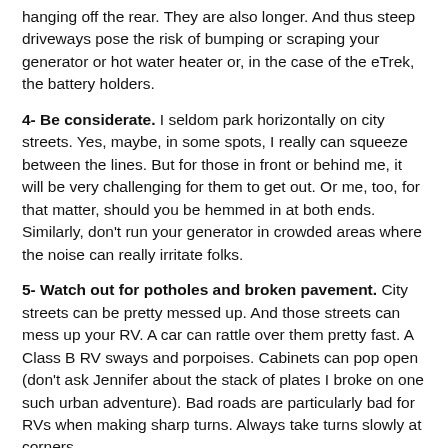hanging off the rear. They are also longer. And thus steep driveways pose the risk of bumping or scraping your generator or hot water heater or, in the case of the eTrek, the battery holders.
4- Be considerate. I seldom park horizontally on city streets. Yes, maybe, in some spots, I really can squeeze between the lines. But for those in front or behind me, it will be very challenging for them to get out. Or me, too, for that matter, should you be hemmed in at both ends. Similarly, don't run your generator in crowded areas where the noise can really irritate folks.
5- Watch out for potholes and broken pavement. City streets can be pretty messed up. And those streets can mess up your RV. A car can rattle over them pretty fast. A Class B RV sways and porpoises. Cabinets can pop open (don't ask Jennifer about the stack of plates I broke on one such urban adventure). Bad roads are particularly bad for RVs when making sharp turns. Always take turns slowly at corners.
6- Lock you RV. That seems pretty obvious, I know. But thieves know motorhomes are very expensive and thus, chances are they have expensive things inside them, too. Just as you probably have a security system for your family car, get one for your RV. Don't leave your GPS suction cupped to your windshield. If you're charging computers,